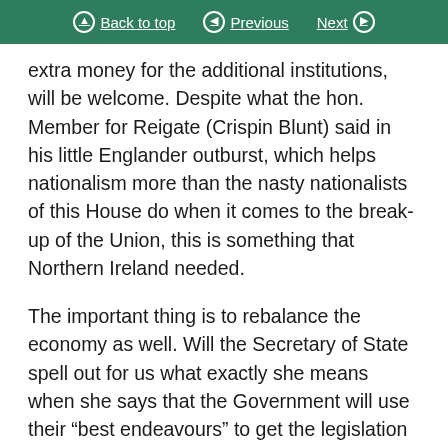Back to top | Previous | Next
extra money for the additional institutions, will be welcome. Despite what the hon. Member for Reigate (Crispin Blunt) said in his little Englander outburst, which helps nationalism more than the nasty nationalists of this House do when it comes to the break-up of the Union, this is something that Northern Ireland needed.
The important thing is to rebalance the economy as well. Will the Secretary of State spell out for us what exactly she means when she says that the Government will use their “best endeavours” to get the legislation on corporation tax through Parliament? Does that mean that that might not happen, and if not, why can she not give total clarity that the legislation will go through before the